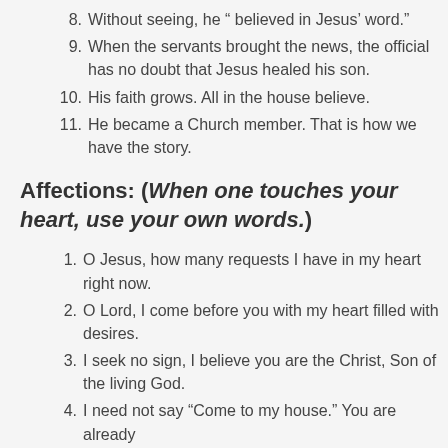8. Without seeing, he " believed in Jesus' word."
9. When the servants brought the news, the official has no doubt that Jesus healed his son.
10. His faith grows. All in the house believe.
11. He became a Church member. That is how we have the story.
Affections: (When one touches your heart, use your own words.)
1. O Jesus, how many requests I have in my heart right now.
2. O Lord, I come before you with my heart filled with desires.
3. I seek no sign, I believe you are the Christ, Son of the living God.
4. I need not say "Come to my house." You are already